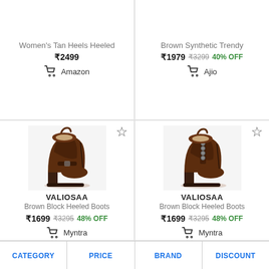Women's Tan Heels Heeled
₹2499
Amazon
Brown Synthetic Trendy
₹1979 ₹3299 40% OFF
Ajio
[Figure (photo): Brown block heeled boots by VALIOSAA with buckle detail, side view]
VALIOSAA
Brown Block Heeled Boots
₹1699 ₹3295 48% OFF
Myntra
[Figure (photo): Brown block heeled boots by VALIOSAA with eyelet lace detail, side view]
VALIOSAA
Brown Block Heeled Boots
₹1699 ₹3295 48% OFF
Myntra
CATEGORY  PRICE  BRAND  DISCOUNT